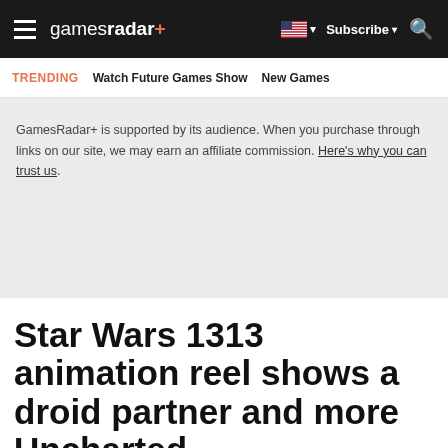gamesradar+ | Subscribe | Search
TRENDING  Watch Future Games Show  New Games
GamesRadar+ is supported by its audience. When you purchase through links on our site, we may earn an affiliate commission. Here's why you can trust us.
Star Wars 1313 animation reel shows a droid partner and more Uncharted-